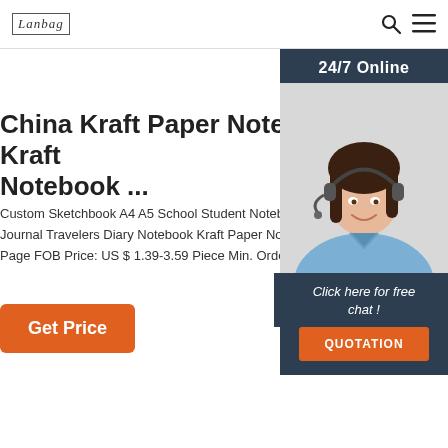Lanbag | Search | Menu
China Kraft Paper Notebook, Kraft Notebook ...
Custom Sketchbook A4 A5 School Student Notebook Journal Travelers Diary Notebook Kraft Paper Notebook Page FOB Price: US $ 1.39-3.59 Piece Min. Order: 30
[Figure (other): Get Price button - orange rounded rectangle button with white text]
[Figure (other): Sidebar widget showing 24/7 Online badge, photo of female customer service agent with headset smiling, 'Click here for free chat!' text, and orange QUOTATION button, on dark navy background]